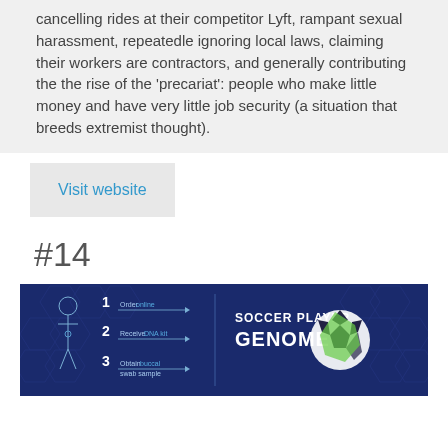cancelling rides at their competitor Lyft, rampant sexual harassment, repeatedle ignoring local laws, claiming their workers are contractors, and generally contributing the the rise of the 'precariat': people who make little money and have very little job security (a situation that breeds extremist thought).
Visit website
#14
[Figure (infographic): Infographic on dark blue background titled 'SOCCER PLAYER GENOME' showing 3 steps: 1. Order online, 2. Receive DNA kit, 3. Obtain buccal swab sample. Left side shows illustrated human figure with numbered steps and arrows. Right side shows a soccer ball with green geometric overlay and hexagonal pattern background.]